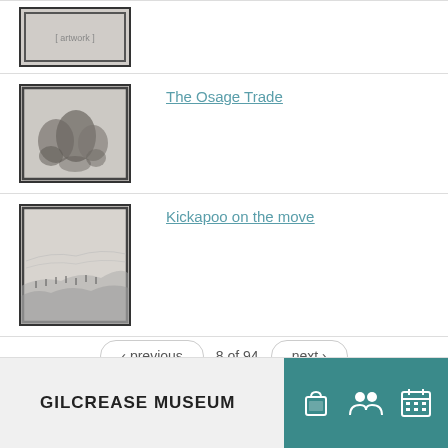[Figure (illustration): Thumbnail image of artwork - small framed sketch at top (partially cut off)]
[Figure (illustration): Thumbnail of 'The Osage Trade' - black and white illustration of multiple figures grouped together]
The Osage Trade
[Figure (illustration): Thumbnail of 'Kickapoo on the move' - black and white landscape illustration with many figures moving across terrain]
Kickapoo on the move
‹ previous   8 of 94   next ›
GILCREASE MUSEUM